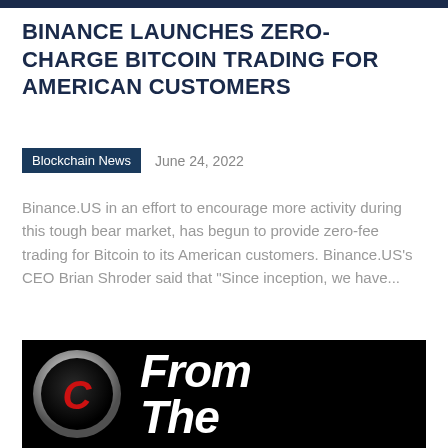BINANCE LAUNCHES ZERO-CHARGE BITCOIN TRADING FOR AMERICAN CUSTOMERS
Blockchain News   June 24, 2022
Binance.US in an effort to encourage more activity during this tough bear market, has begun to provide zero-fee trading for Bitcoin to its American customers. Binance.US's CEO Brian Shroder said that “Since inception, we have...
[Figure (logo): Black banner with a circular logo featuring a red letter C and chrome border on the left, and white bold italic text reading 'From The' on the right]